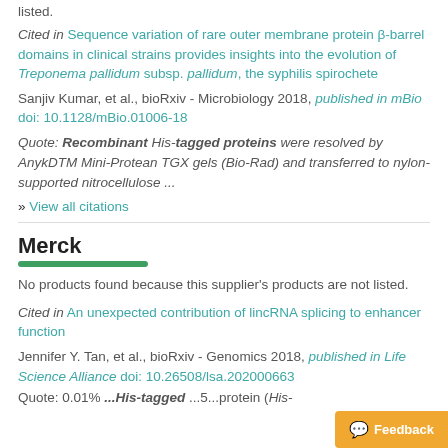listed.
Cited in Sequence variation of rare outer membrane protein β-barrel domains in clinical strains provides insights into the evolution of Treponema pallidum subsp. pallidum, the syphilis spirochete
Sanjiv Kumar, et al., bioRxiv - Microbiology 2018, published in mBio doi: 10.1128/mBio.01006-18
Quote: Recombinant His-tagged proteins were resolved by AnykDTM Mini-Protean TGX gels (Bio-Rad) and transferred to nylon-supported nitrocellulose ...
» View all citations
Merck
No products found because this supplier's products are not listed.
Cited in An unexpected contribution of lincRNA splicing to enhancer function
Jennifer Y. Tan, et al., bioRxiv - Genomics 2018, published in Life Science Alliance doi: 10.26508/lsa.202000663